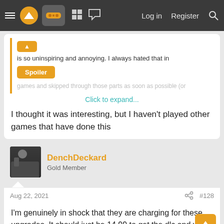Navigation bar with menu, logo, game icon, grid, chat, Log in, Register, Search
is so uninspiring and annoying. I always hated that in
Spoiler
games and skipped through those parts as soon as possible (or
Click to expand...
I thought it was interesting, but I haven't played other games that have done this
DenchDeckard
Gold Member
Aug 22, 2021
#128
I'm genuinely in shock that they are charging for these upgrades. It should just be 14.99 to get the dlc and you get the upgrades, or it's just upgraded for free without the dlc.